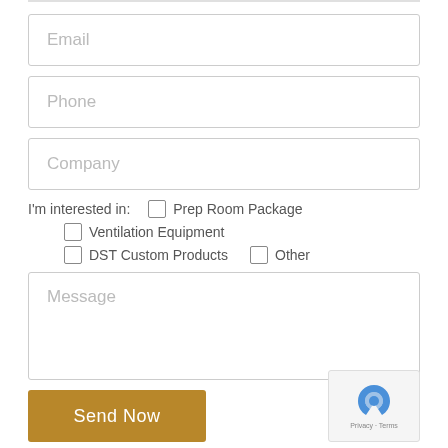Email
Phone
Company
I'm interested in:  ☐ Prep Room Package  ☐ Ventilation Equipment  ☐ DST Custom Products  ☐ Other
Message
Send Now